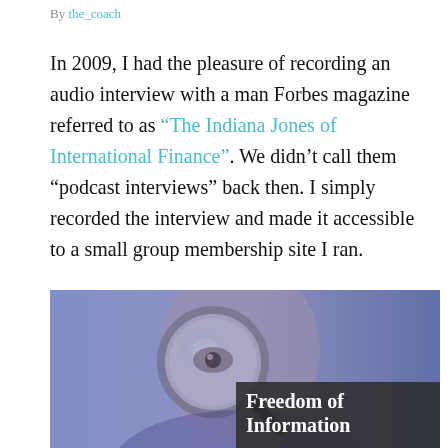By the_coach
In 2009, I had the pleasure of recording an audio interview with a man Forbes magazine referred to as “The Indiana Jones of International Finance”. We didn’t call them “podcast interviews” back then. I simply recorded the interview and made it accessible to a small group membership site I ran.
[Figure (photo): A man holding a magnifying glass up to his eye against a blue-toned background, with a dark overlay box containing the text 'Freedom of Information' in white bold serif font.]